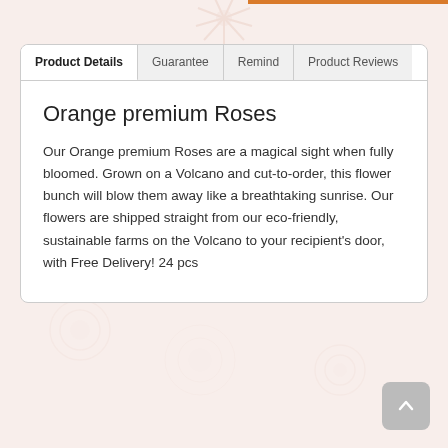Orange premium Roses
Our Orange premium Roses are a magical sight when fully bloomed. Grown on a Volcano and cut-to-order, this flower bunch will blow them away like a breathtaking sunrise. Our flowers are shipped straight from our eco-friendly, sustainable farms on the Volcano to your recipient's door, with Free Delivery! 24 pcs